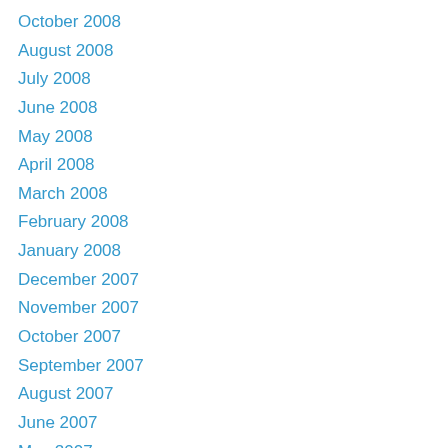October 2008
August 2008
July 2008
June 2008
May 2008
April 2008
March 2008
February 2008
January 2008
December 2007
November 2007
October 2007
September 2007
August 2007
June 2007
May 2007
April 2007
March 2007
February 2007
January 2007